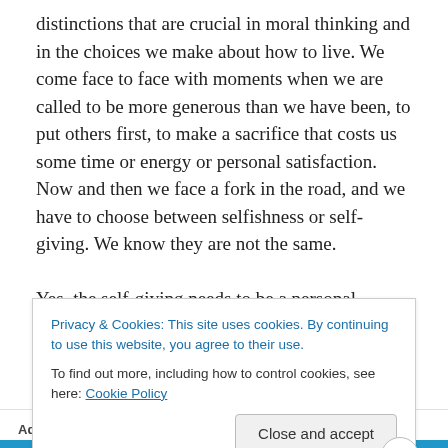distinctions that are crucial in moral thinking and in the choices we make about how to live. We come face to face with moments when we are called to be more generous than we have been, to put others first, to make a sacrifice that costs us some time or energy or personal satisfaction. Now and then we face a fork in the road, and we have to choose between selfishness or self-giving. We know they are not the same.

Yes, the self-giving needs to be a personal choice, it needs to be something I make a commitment to. In this
Privacy & Cookies: This site uses cookies. By continuing to use this website, you agree to their use.
To find out more, including how to control cookies, see here: Cookie Policy
Close and accept
Advertisements